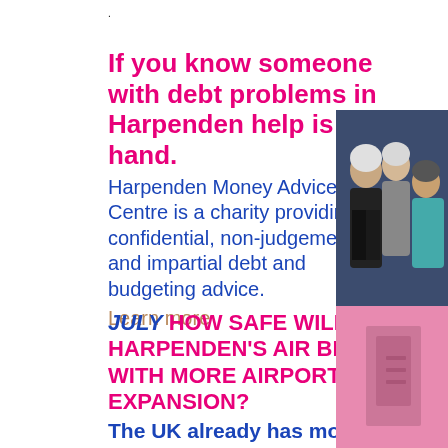.
If you know someone with debt problems in Harpenden help is at hand. Harpenden Money Advice Centre is a charity providing confidential, non-judgemental and impartial debt and budgeting advice.
Learn more
[Figure (photo): Photo of three people (two men and a woman) standing together, against a dark blue curtain background.]
JULY HOW SAFE WILL HARPENDEN'S AIR BE WITH MORE AIRPORT EXPANSION? The UK already has more than 100,000 people dying every
[Figure (photo): Photo with pink/magenta background, partial view of an object.]